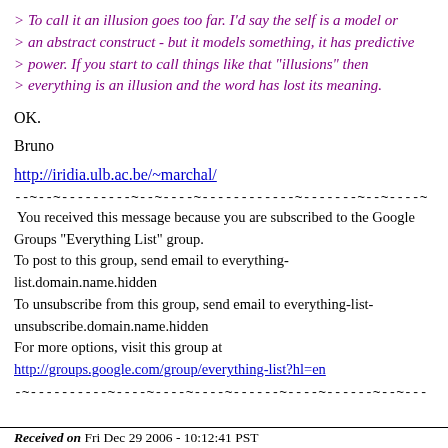> To call it an illusion goes too far. I'd say the self is a model or > an abstract construct - but it models something, it has predictive > power. If you start to call things like that "illusions" then > everything is an illusion and the word has lost its meaning.
OK.
Bruno
http://iridia.ulb.ac.be/~marchal/
--~--~---------~--~----~------------~-------~--~----~
You received this message because you are subscribed to the Google Groups "Everything List" group.
To post to this group, send email to everything-list.domain.name.hidden
To unsubscribe from this group, send email to everything-list-unsubscribe.domain.name.hidden
For more options, visit this group at
http://groups.google.com/group/everything-list?hl=en
-~----------~----~----~----~------~----~------~--~---
Received on Fri Dec 29 2006 - 10:12:41 PST